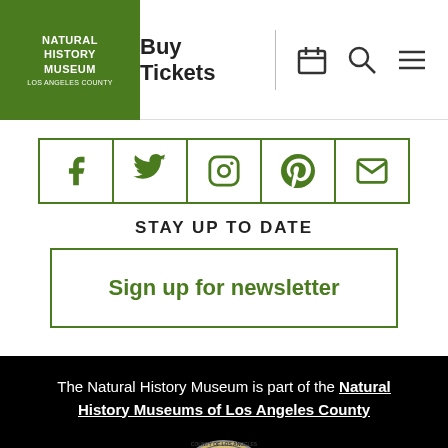[Figure (logo): Natural History Museum Los Angeles County logo — white text on green background]
Buy Tickets
[Figure (infographic): Social media icon buttons: Facebook, Twitter, Instagram, Pinterest, Email — in a horizontal green-bordered row]
STAY UP TO DATE
Sign up for newsletter
The Natural History Museum is part of the Natural History Museums of Los Angeles County
[Figure (logo): County of Los Angeles California seal]